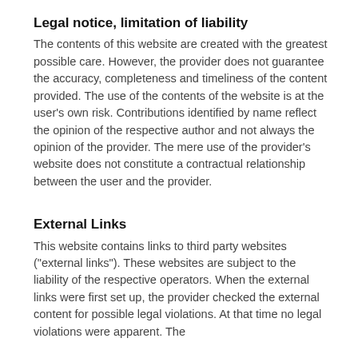Legal notice, limitation of liability
The contents of this website are created with the greatest possible care. However, the provider does not guarantee the accuracy, completeness and timeliness of the content provided. The use of the contents of the website is at the user's own risk. Contributions identified by name reflect the opinion of the respective author and not always the opinion of the provider. The mere use of the provider's website does not constitute a contractual relationship between the user and the provider.
External Links
This website contains links to third party websites ("external links"). These websites are subject to the liability of the respective operators. When the external links were first set up, the provider checked the external content for possible legal violations. At that time no legal violations were apparent. The